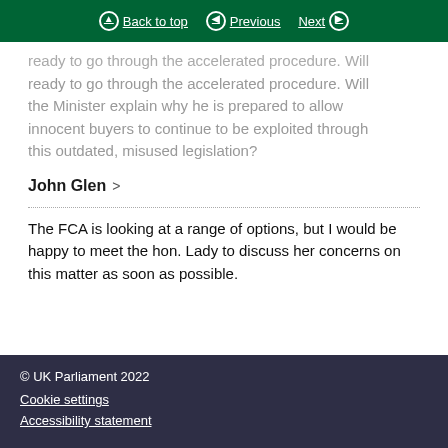Back to top | Previous | Next
ready to go through the accelerated procedure. Will the Minister explain why he is prepared to allow innocent buyers to continue to be exploited through this outdated, misused legislation?
John Glen >
The FCA is looking at a range of options, but I would be happy to meet the hon. Lady to discuss her concerns on this matter as soon as possible.
© UK Parliament 2022
Cookie settings
Accessibility statement